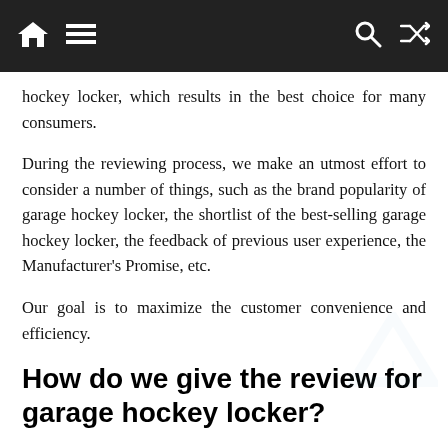Navigation bar with home, menu, search, and shuffle icons
hockey locker, which results in the best choice for many consumers.
During the reviewing process, we make an utmost effort to consider a number of things, such as the brand popularity of garage hockey locker, the shortlist of the best-selling garage hockey locker, the feedback of previous user experience, the Manufacturer's Promise, etc.
Our goal is to maximize the customer convenience and efficiency.
How do we give the review for garage hockey locker?
An informed and nice product review heavily depends on its research and knowledge, as well as a balanced